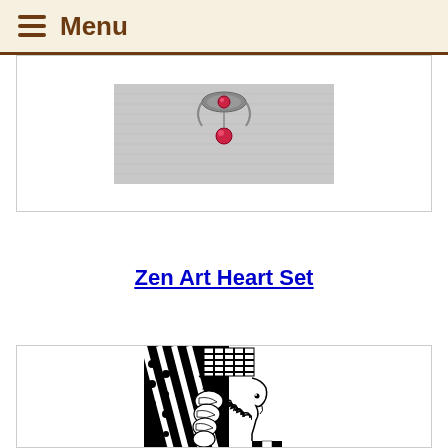Menu
[Figure (photo): Close-up photo of a red gemstone pendant necklace on a light gray fabric background]
Zen Art Heart Set
[Figure (illustration): Black and white zen art illustration of a woman's profile with elaborate patterned hair featuring stripes, dots, waves, and geometric shapes]